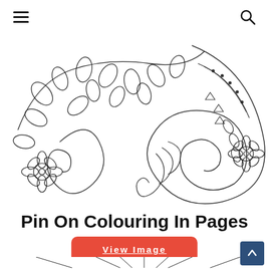☰ (menu icon) and 🔍 (search icon)
[Figure (illustration): Black and white coloring page illustration featuring decorative floral and paisley patterns with swirling vines, leaves, flowers, and geometric details — typical adult coloring book design.]
Pin On Colouring In Pages
View Image
[Figure (illustration): Partial view of open books/pages fanning out — bottom of page, black and white line drawing.]